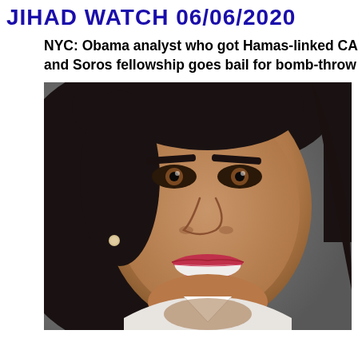JIHAD WATCH 06/06/2020
NYC: Obama analyst who got Hamas-linked CA and Soros fellowship goes bail for bomb-throw
[Figure (photo): Headshot photo of a smiling woman with dark hair, brown eyes, red lipstick, pearl earring, and white shirt collar, against a gray background]